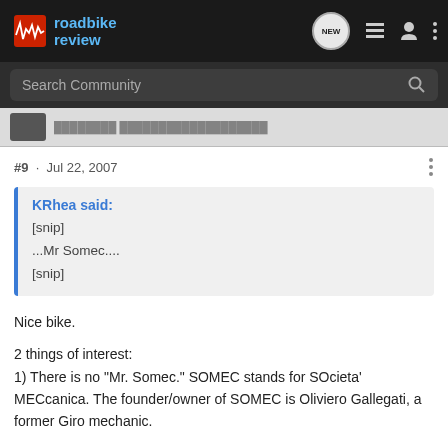roadbike review
Search Community
#9 · Jul 22, 2007
KRhea said:
[snip]
...Mr Somec....
[snip]
Nice bike.

2 things of interest:
1) There is no "Mr. Somec." SOMEC stands for SOcieta' MECcanica. The founder/owner of SOMEC is Oliviero Gallegati, a former Giro mechanic.